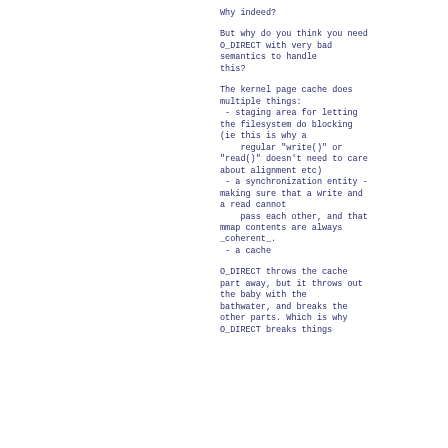Why indeed?
But why do you think you need O_DIRECT with very bad semantics to handle this?
The kernel page cache does multiple things:
 - staging area for letting the filesystem do blocking (ie this is why a
    regular "write()" or "read()" doesn't need to care about alignment etc)
 - a synchronization entity - making sure that a write and a read cannot
    pass each other, and that mmap contents are always _coherent_.
 - a cache
O_DIRECT throws the cache part away, but it throws out the baby with the bathwater, and breaks the other parts. Which is why O_DIRECT breaks things